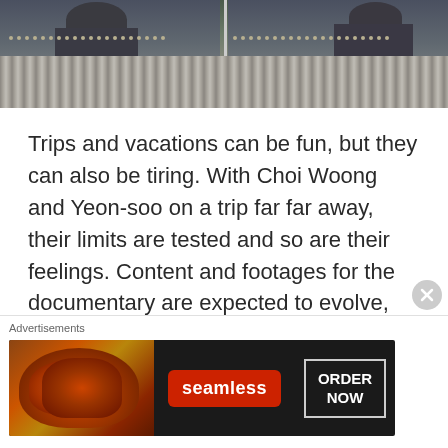[Figure (photo): A scene showing two people viewed through a window or fence with corrugated metal siding below, split into two panels side by side.]
Trips and vacations can be fun, but they can also be tiring. With Choi Woong and Yeon-soo on a trip far far away, their limits are tested and so are their feelings. Content and footages for the documentary are expected to evolve, but will anything else come out of this rare and unexpected trip? Our [...]
Advertisements
[Figure (photo): Seamless food delivery advertisement banner showing pizza on the left, the Seamless logo in the center, and an ORDER NOW button on the right.]